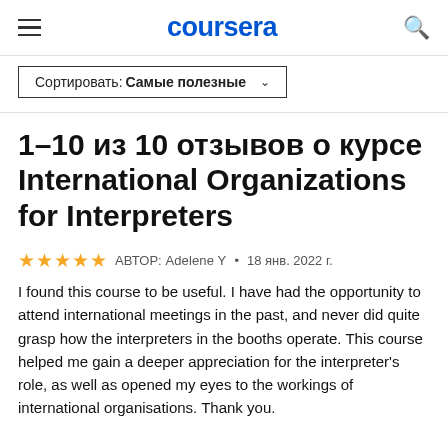coursera
Сортировать: Самые полезные
1–10 из 10 отзывов о курсе International Organizations for Interpreters
★★★★★  АВТОР: Adelene Y  •  18 янв. 2022 г.
I found this course to be useful. I have had the opportunity to attend international meetings in the past, and never did quite grasp how the interpreters in the booths operate. This course helped me gain a deeper appreciation for the interpreter's role, as well as opened my eyes to the workings of international organisations. Thank you.